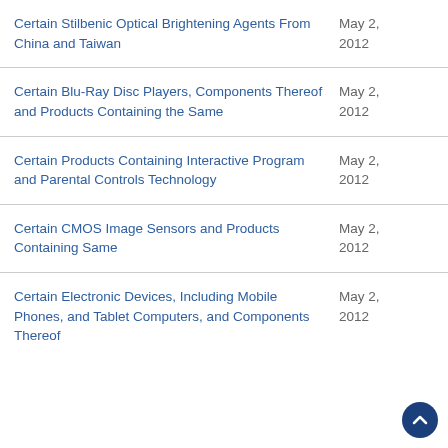| Case Name | Date |
| --- | --- |
| Certain Stilbenic Optical Brightening Agents From China and Taiwan | May 2, 2012 |
| Certain Blu-Ray Disc Players, Components Thereof and Products Containing the Same | May 2, 2012 |
| Certain Products Containing Interactive Program and Parental Controls Technology | May 2, 2012 |
| Certain CMOS Image Sensors and Products Containing Same | May 2, 2012 |
| Certain Electronic Devices, Including Mobile Phones, and Tablet Computers, and Components Thereof | May 2, 2012 |